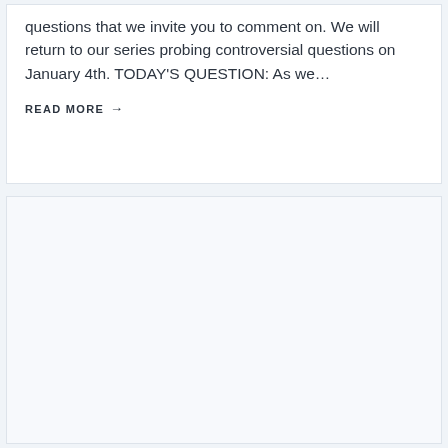questions that we invite you to comment on. We will return to our series probing controversial questions on January 4th. TODAY'S QUESTION: As we…
READ MORE →